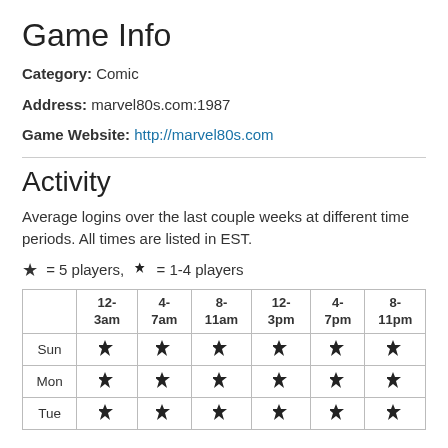Game Info
Category: Comic
Address: marvel80s.com:1987
Game Website: http://marvel80s.com
Activity
Average logins over the last couple weeks at different time periods. All times are listed in EST.
★ = 5 players, ✦ = 1-4 players
|  | 12-3am | 4-7am | 8-11am | 12-3pm | 4-7pm | 8-11pm |
| --- | --- | --- | --- | --- | --- | --- |
| Sun | ♟ | ♟ | ♟ | ♟ | ♟ | ♟ |
| Mon | ♟ | ♟ | ♟ | ♟ | ♟ | ♟ |
| Tue | ♟ | ♟ | ♟ | ♟ | ♟ | ♟ |